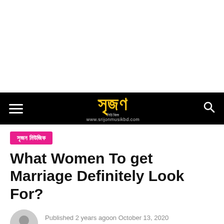[Figure (other): White advertisement space at top of page]
সৃজন মিউজিক navigation bar with hamburger menu, logo, and search icon
সৃজন মিউজিক
What Women To get Marriage Definitely Look For?
Published 2 years agoon October 13, 2020
By srijon music
Most Ukraino girls looking for guys abroad are searching